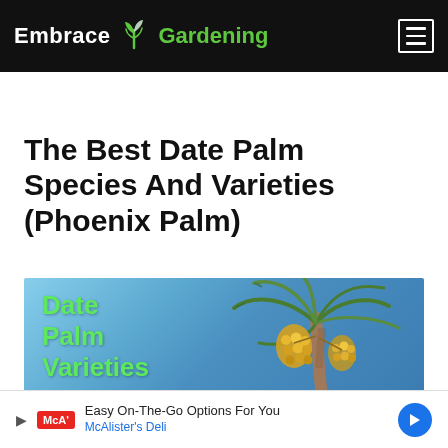Embrace Gardening
The Best Date Palm Species And Varieties (Phoenix Palm)
[Figure (photo): Date palm tree with clusters of orange-yellow dates against a blue sky, with overlay text reading 'Date Palm Varieties' in green]
Easy On-The-Go Options For You
McAlister's Deli